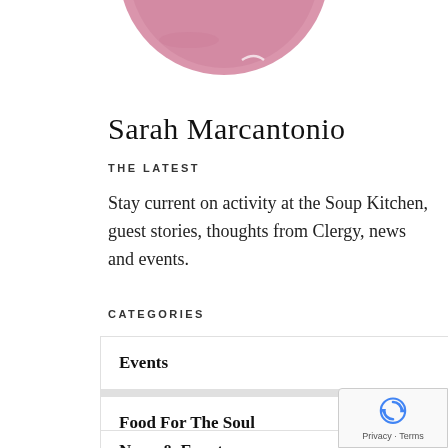[Figure (illustration): Partial pink/mauve circular logo or avatar graphic, cropped at top of page]
Sarah Marcantonio
THE LATEST
Stay current on activity at the Soup Kitchen, guest stories, thoughts from Clergy, news and events.
CATEGORIES
Events
Food For The Soul
News & Events